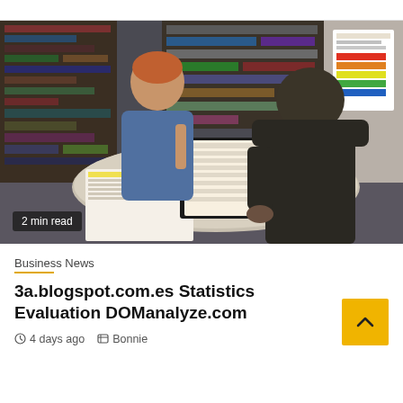[Figure (photo): Two people sitting at a round office table reviewing documents. A woman with reddish hair in a blue dress and a man in a dark suit jacket, seen from behind, with bookshelves and office materials in the background. A badge reads '2 min read'.]
Business News
3a.blogspot.com.es Statistics Evaluation DOManalyze.com
4 days ago   Bonnie